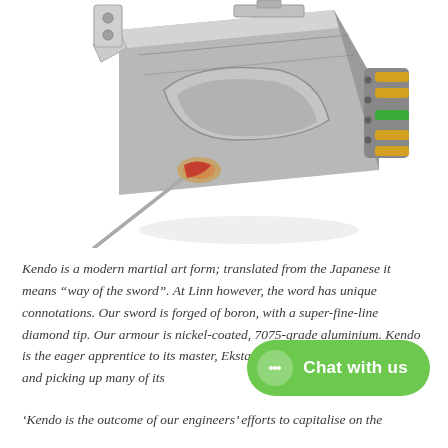[Figure (photo): Close-up photograph of a Linn Kendo phono cartridge — a machined aluminium body (nickel-coated, 7075-grade) shown at an angle, with gold and green connector pins visible on the right side and a fine-line stylus protruding at the bottom-left.]
Kendo is a modern martial art form; translated from the Japanese it means "way of the sword". At Linn however, the word has unique connotations. Our sword is forged of boron, with a super-fine-line diamond tip. Our armour is nickel-coated, 7075-grade aluminium. Kendo is the eager apprentice to its master, Ekstatik; sharing the same values, and picking up many of its
'Kendo is the outcome of our engineers' efforts to capitalise on the